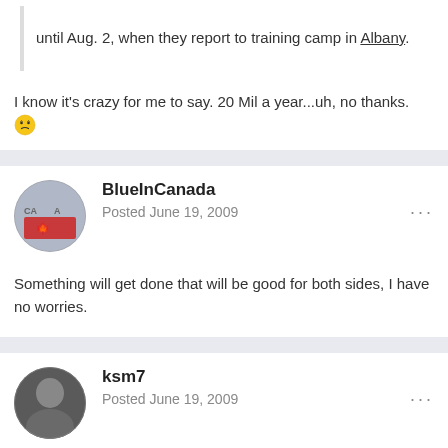until Aug. 2, when they report to training camp in Albany.
I know it's crazy for me to say. 20 Mil a year...uh, no thanks. 😕
BlueInCanada
Posted June 19, 2009
Something will get done that will be good for both sides, I have no worries.
ksm7
Posted June 19, 2009
NeMesiS said: